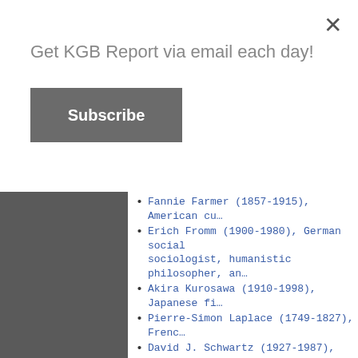Get KGB Report via email each day!
Subscribe
Fannie Farmer (1857-1915), American cu…
Erich Fromm (1900-1980), German social sociologist, humanistic philosopher, an…
Akira Kurosawa (1910-1998), Japanese fi…
Pierre-Simon Laplace (1749-1827), Frenc…
David J. Schwartz (1927-1987), American coach;
Wernher von Braun (1912-1977), German, engineer;
Quote of the day:
"Our society cannot afford a two-tiered s have access to superior education, while dull and incoherent classroom experience. educational equity, and fairness demand a for all learners."